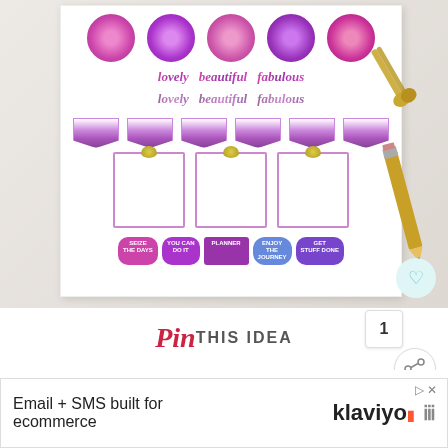[Figure (photo): Product photo of a purple floral planner sticker sheet with circular flower photos, script words (lovely, beautiful, fabulous), clipboard sections, and motivational badge stickers. Gold scissors and pencil visible in background on white surface.]
Pin THIS IDEA
1
YOU MIGHT LIKE:
WHAT'S NEXT → Cherry Red Planner...
If you would like to see other similar color
Email + SMS built for ecommerce
[Figure (logo): Klaviyo logo with orange accent]